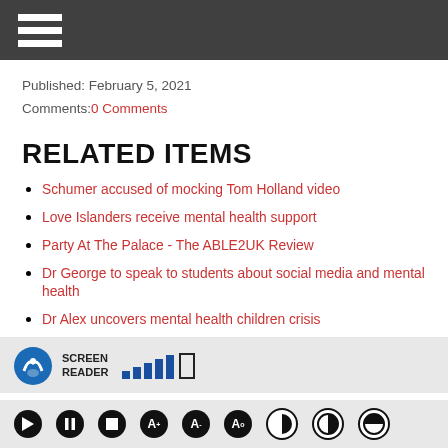Navigation menu (hamburger icon)
Published: February 5, 2021
Comments: 0 Comments
RELATED ITEMS
Schumer accused of mocking Tom Holland video
Love Islanders receive mental health support
Party At The Palace - The ABLE2UK Review
Dr George to speak to students about social media and mental health
Dr Alex uncovers mental health children crisis
SCREEN READER toolbar with playback controls